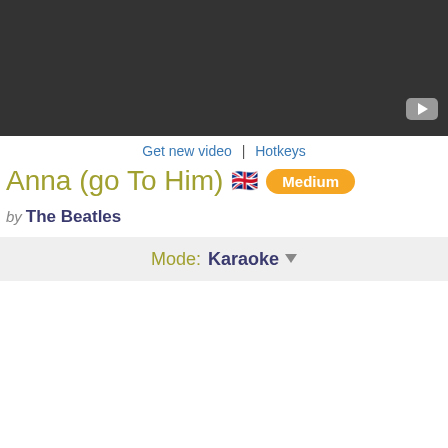[Figure (screenshot): Dark grey video player bar at top of page with a play button icon in bottom right corner]
Get new video  |  Hotkeys
Anna (go To Him) 🇬🇧 Medium
by The Beatles
Mode: Karaoke ▾